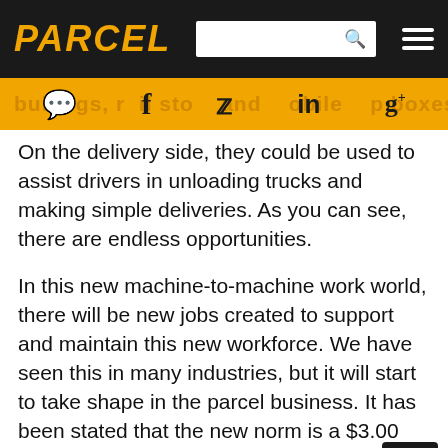PARCEL
buildings, retail stores and mobile drop boxes. On the delivery side, they could be used to assist drivers in unloading trucks and making simple deliveries. As you can see, there are endless opportunities.
In this new machine-to-machine work world, there will be new jobs created to support and maintain this new workforce. We have seen this in many industries, but it will start to take shape in the parcel business. It has been stated that the new norm is a $3.00 delivery in the US, this can only be achieved by a high level of